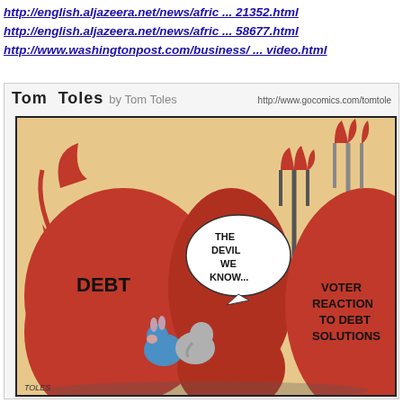http://english.aljazeera.net/news/afric ... 21352.html
http://english.aljazeera.net/news/afric ... 58677.html
http://www.washingtonpost.com/business/ ... video.html
[Figure (illustration): Tom Toles political cartoon by Tom Toles. Shows three large red devil figures labeled 'DEBT' and 'VOTER REACTION TO DEBT SOLUTIONS', with small donkey and elephant characters between them. Middle devil holds pitchfork with speech bubble saying 'THE DEVIL WE KNOW...'. Source url: http://www.gocomics.com/tomtole]